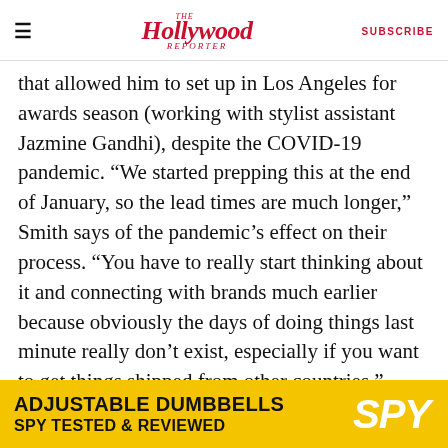The Hollywood Reporter | SUBSCRIBE
that allowed him to set up in Los Angeles for awards season (working with stylist assistant Jazmine Gandhi), despite the COVID-19 pandemic. “We started prepping this at the end of January, so the lead times are much longer,” Smith says of the pandemic’s effect on their process. “You have to really start thinking about it and connecting with brands much earlier because obviously the days of doing things last minute really don’t exist, especially if you want to get things shipped from other countries.”
Their partnership may be new, but Smith and
[Figure (other): Advertisement banner: ADJUSTABLE DUMBBELLS SPY TESTED & REVIEWED with SPY logo on yellow background]